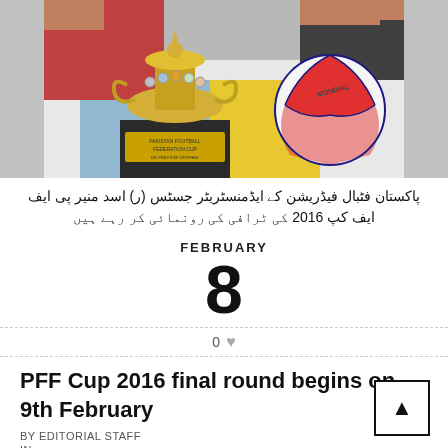[Figure (photo): Photo showing Pakistan Football Federation cup trophy (gold/silver) on a dark plinth with 'Pakistan Football Federation Cup' inscription, and a red and white Mondial football, with colorful flags/draping in background, people's hands visible at top]
پاکستان فٹبال فیڈریشن کے ایڈمنسٹریٹر جسٹس (ر) اسد منیر پی ایف ایف کپ 2016 کی ٹرافی کی رونمائی کر رہے ہیں
FEBRUARY
8
0
PFF Cup 2016 final round begins on 9th February
BY EDITORIAL STAFF
IN